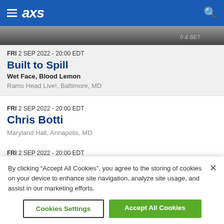AXS
[Figure (photo): Partial photo of a performer or band member, black and white]
FRI 2 SEP 2022 - 20:00 EDT
Built to Spill
Wet Face, Blood Lemon
Rams Head Live!, Baltimore, MD
FRI 2 SEP 2022 - 20:00 EDT
Chris Botti
Maryland Hall, Annapolis, MD
FRI 2 SEP 2022 - 20:00 EDT
One Particular Harbour: Jimmy Buffett Band Tribute
By clicking “Accept All Cookies”, you agree to the storing of cookies on your device to enhance site navigation, analyze site usage, and assist in our marketing efforts.